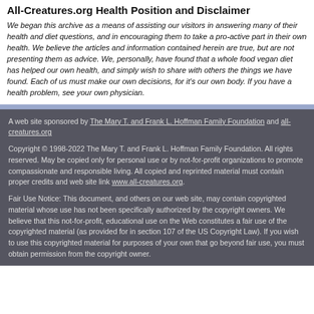All-Creatures.org Health Position and Disclaimer
We began this archive as a means of assisting our visitors in answering many of their health and diet questions, and in encouraging them to take a pro-active part in their own health. We believe the articles and information contained herein are true, but are not presenting them as advice. We, personally, have found that a whole food vegan diet has helped our own health, and simply wish to share with others the things we have found. Each of us must make our own decisions, for it's our own body. If you have a health problem, see your own physician.
A web site sponsored by The Mary T. and Frank L. Hoffman Family Foundation and all-creatures.org
Copyright © 1998-2022 The Mary T. and Frank L. Hoffman Family Foundation. All rights reserved. May be copied only for personal use or by not-for-profit organizations to promote compassionate and responsible living. All copied and reprinted material must contain proper credits and web site link www.all-creatures.org.
Fair Use Notice: This document, and others on our web site, may contain copyrighted material whose use has not been specifically authorized by the copyright owners. We believe that this not-for-profit, educational use on the Web constitutes a fair use of the copyrighted material (as provided for in section 107 of the US Copyright Law). If you wish to use this copyrighted material for purposes of your own that go beyond fair use, you must obtain permission from the copyright owner.